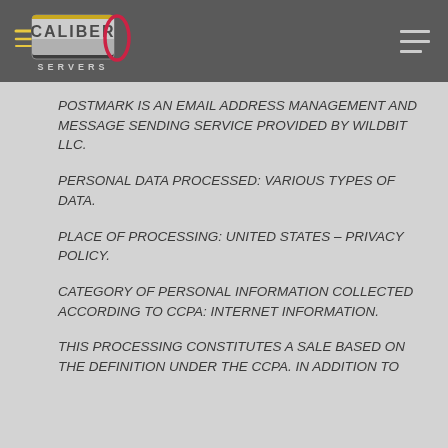[Figure (logo): Caliber Servers logo with speed lines and stylized text on dark background]
POSTMARK IS AN EMAIL ADDRESS MANAGEMENT AND MESSAGE SENDING SERVICE PROVIDED BY WILDBIT LLC.
PERSONAL DATA PROCESSED: VARIOUS TYPES OF DATA.
PLACE OF PROCESSING: UNITED STATES – PRIVACY POLICY.
CATEGORY OF PERSONAL INFORMATION COLLECTED ACCORDING TO CCPA: INTERNET INFORMATION.
THIS PROCESSING CONSTITUTES A SALE BASED ON THE DEFINITION UNDER THE CCPA. IN ADDITION TO